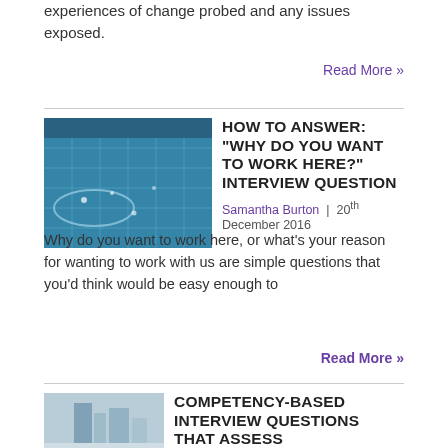experiences of change probed and any issues exposed.
Read More »
HOW TO ANSWER: “WHY DO YOU WANT TO WORK HERE?” INTERVIEW QUESTION
Samantha Burton | 20th December 2016
Why do you want to work here, or what’s your reason for wanting to work with us are simple questions that you’d think would be easy enough to
Read More »
COMPETENCY-BASED INTERVIEW QUESTIONS THAT ASSESS PROFESSIONALISM AND INTEGRITY